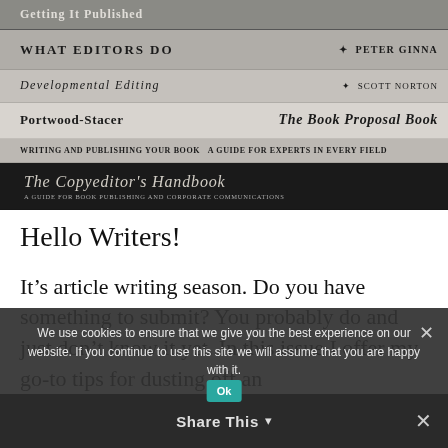[Figure (photo): Stacked book spines showing titles: Getting It Published, What Editors Do by Peter Ginna, Developmental Editing by Scott Norton, The Book Proposal Book by Portwood-Stacer, Writing and Publishing Your Book, The Copyeditor's Handbook]
Hello Writers!
It's article writing season. Do you have something to submit? You probably do and just don't know it yet. In this issue I offer my go-to tips for dusting off an
We use cookies to ensure that we give you the best experience on our website. If you continue to use this site we will assume that you are happy with it.
Ok
Share This